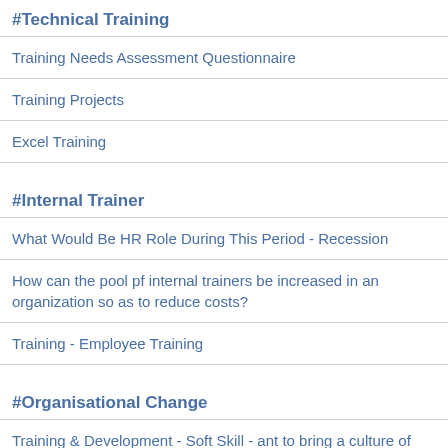#Technical Training
Training Needs Assessment Questionnaire
Training Projects
Excel Training
#Internal Trainer
What Would Be HR Role During This Period - Recession
How can the pool pf internal trainers be increased in an organization so as to reduce costs?
Training - Employee Training
#Organisational Change
Training & Development - Soft Skill - ant to bring a culture of training and development among our team members